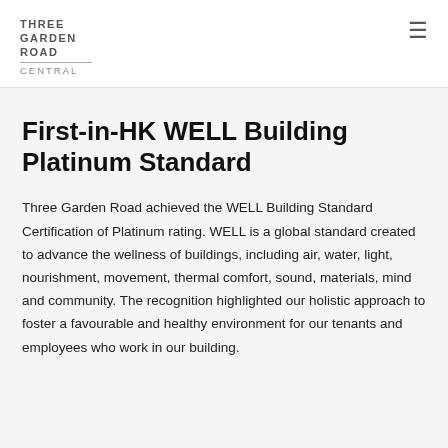THREE GARDEN ROAD CENTRAL
First-in-HK WELL Building Platinum Standard
Three Garden Road achieved the WELL Building Standard Certification of Platinum rating. WELL is a global standard created to advance the wellness of buildings, including air, water, light, nourishment, movement, thermal comfort, sound, materials, mind and community. The recognition highlighted our holistic approach to foster a favourable and healthy environment for our tenants and employees who work in our building.